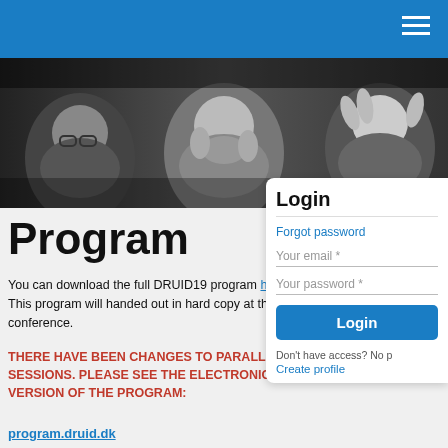Navigation bar with hamburger menu
[Figure (photo): Three people at a table laughing and gesturing, dark background, black and white/sepia toned photo]
Program
You can download the full DRUID19 program here. This program will handed out in hard copy at the conference.
THERE HAVE BEEN CHANGES TO PARALLEL SESSIONS. PLEASE SEE THE ELECTRONIC VERSION OF THE PROGRAM:
program.druid.dk
This electronic version of the program will be
Login
Forgot password
Your email *
Your password *
Login
Don't have access? No p
Create profile